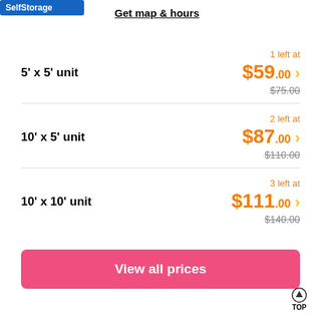[Figure (logo): Blue storage company logo in top left corner]
Get map & hours
| Unit | Availability | Price | Original Price |
| --- | --- | --- | --- |
| 5' x 5' unit | 1 left at | $59.00 | $75.00 |
| 10' x 5' unit | 2 left at | $87.00 | $110.00 |
| 10' x 10' unit | 3 left at | $111.00 | $140.00 |
View all prices